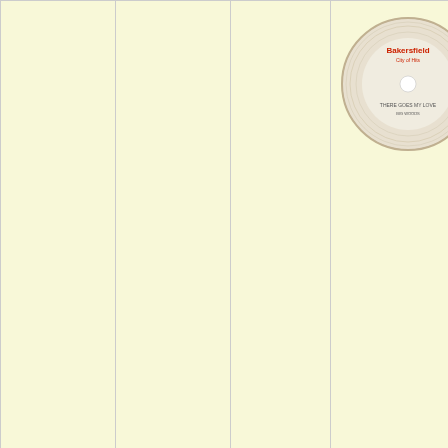| Label/Location | Date/Notes | Artist | Record Image | Song Info |
| --- | --- | --- | --- | --- |
| Bakersfield (Calif.) |  |  | [Bakersfield record image] | • There Go... Woods / Jo... Buck Owen... Bass |
| Bakersfield (Calif.) 119 [45] | 1957/May 13 Bb c&w rev. | Payne, Dusty | [Bakersfield blue record image] | • Long Tim... Payne & H... ▶ 0:00 (from Buffa... |